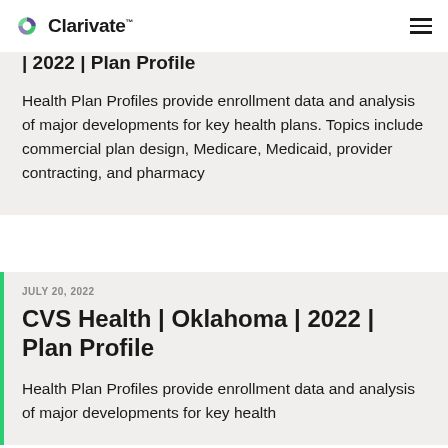Clarivate
Health Plan Profiles provide enrollment data and analysis of major developments for key health plans. Topics include commercial plan design, Medicare, Medicaid, provider contracting, and pharmacy
JULY 20, 2022
CVS Health | Oklahoma | 2022 | Plan Profile
Health Plan Profiles provide enrollment data and analysis of major developments for key health